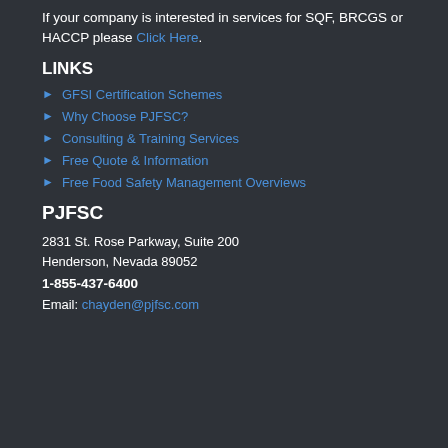If your company is interested in services for SQF, BRCGS or HACCP please Click Here.
LINKS
GFSI Certification Schemes
Why Choose PJFSC?
Consulting & Training Services
Free Quote & Information
Free Food Safety Management Overviews
PJFSC
2831 St. Rose Parkway, Suite 200
Henderson, Nevada 89052
1-855-437-6400
Email: chayden@pjfsc.com